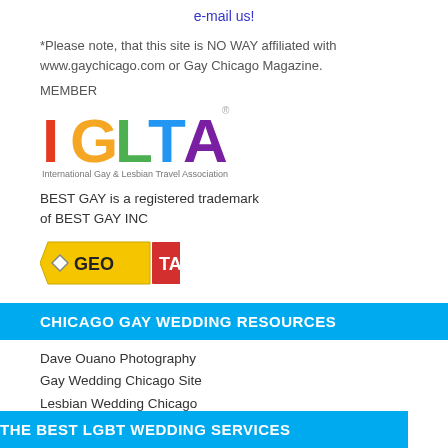e-mail us!
*Please note, that this site is NO WAY affiliated with www.gaychicago.com or Gay Chicago Magazine.
MEMBER
[Figure (logo): IGLTA logo - International Gay & Lesbian Travel Association rainbow colored letters]
BEST GAY is a registered trademark of BEST GAY INC
[Figure (logo): GeoTag logo - yellow tag shape with GEO text and red TAG box]
CHICAGO GAY WEDDING RESOURCES
Dave Ouano Photography
Gay Wedding Chicago Site
Lesbian Wedding Chicago
THE BEST LGBT WEDDING SERVICES